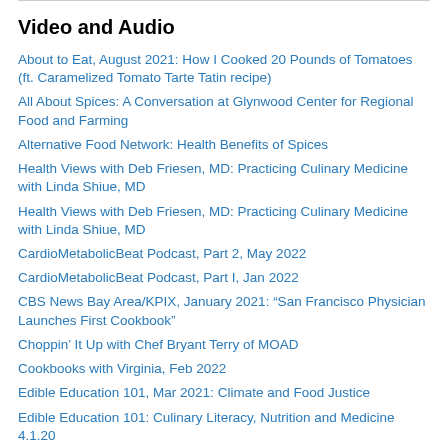Video and Audio
About to Eat, August 2021: How I Cooked 20 Pounds of Tomatoes (ft. Caramelized Tomato Tarte Tatin recipe)
All About Spices: A Conversation at Glynwood Center for Regional Food and Farming
Alternative Food Network: Health Benefits of Spices
Health Views with Deb Friesen, MD: Practicing Culinary Medicine with Linda Shiue, MD
Health Views with Deb Friesen, MD: Practicing Culinary Medicine with Linda Shiue, MD
CardioMetabolicBeat Podcast, Part 2, May 2022
CardioMetabolicBeat Podcast, Part I, Jan 2022
CBS News Bay Area/KPIX, January 2021: "San Francisco Physician Launches First Cookbook"
Choppin' It Up with Chef Bryant Terry of MOAD
Cookbooks with Virginia, Feb 2022
Edible Education 101, Mar 2021: Climate and Food Justice
Edible Education 101: Culinary Literacy, Nutrition and Medicine 4.1.20